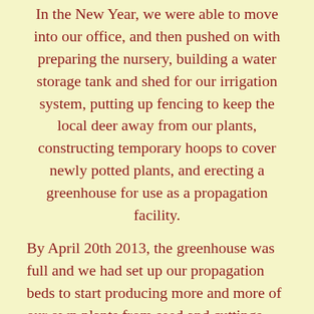In the New Year, we were able to move into our office, and then pushed on with preparing the nursery, building a water storage tank and shed for our irrigation system, putting up fencing to keep the local deer away from our plants, constructing temporary hoops to cover newly potted plants, and erecting a greenhouse for use as a propagation facility.
By April 20th 2013, the greenhouse was full and we had set up our propagation beds to start producing more and more of our own plants from seed and cuttings. The weather